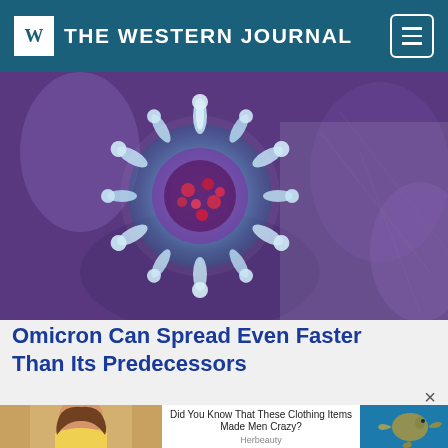THE WESTERN JOURNAL
[Figure (photo): Close-up 3D rendering of a coronavirus particle with spike proteins on a blurred crowd background]
Omicron Can Spread Even Faster Than Its Predecessors
[Figure (photo): Advertisement image showing a woman in yellow clothing on the left and a sea creature on the right, with ad text: Did You Know That These Clothing Items Made Men Crazy? - Herbeauty]